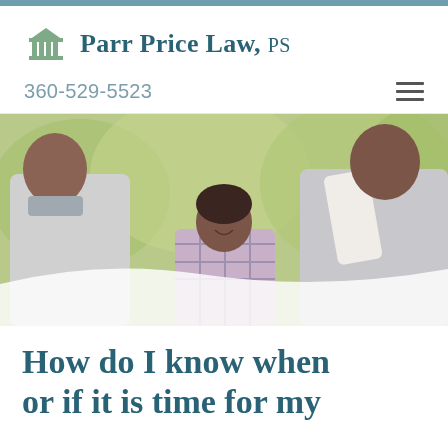Parr Price Law, PS
360-529-5523
[Figure (photo): Family photo showing two adults and a smiling young girl outdoors with green trees in background]
How do I know when or if it is time for my